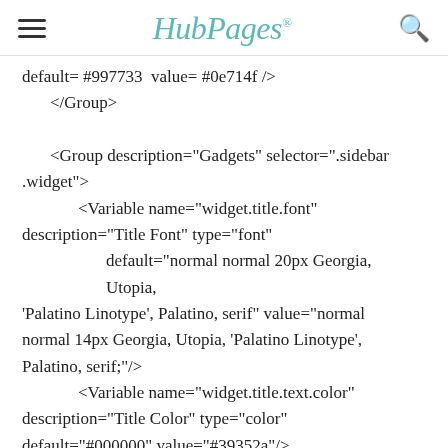HubPages
default= #997733  value= #0e714f />
    </Group>

    <Group description="Gadgets" selector=".sidebar.widget">
        <Variable name="widget.title.font" description="Title Font" type="font"
                default="normal normal 20px Georgia, Utopia, 'Palatino Linotype', Palatino, serif" value="normal normal 14px Georgia, Utopia, 'Palatino Linotype', Palatino, serif;"/>
        <Variable name="widget.title.text.color" description="Title Color" type="color" default="#000000" value="#39352a"/>
        <Variable name="widget.alternate.text.color" description="Alternate Color" type="color" default="#777777" value="#b7..."